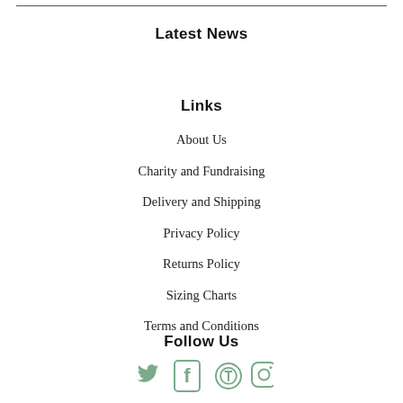Latest News
Links
About Us
Charity and Fundraising
Delivery and Shipping
Privacy Policy
Returns Policy
Sizing Charts
Terms and Conditions
Follow Us
[Figure (illustration): Social media icons: Twitter bird, Facebook F, Pinterest P, Instagram camera — rendered in sage/muted green color]